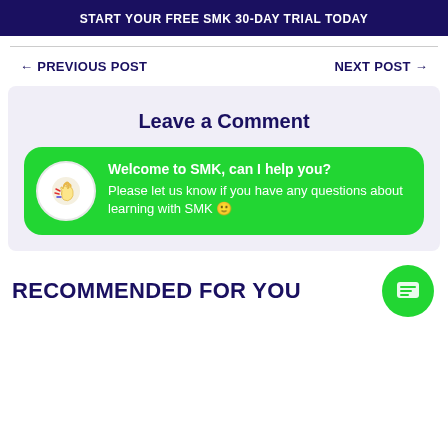[Figure (infographic): Dark navy banner with white bold text: START YOUR FREE SMK 30-DAY TRIAL TODAY]
← PREVIOUS POST
NEXT POST →
Leave a Comment
Welcome to SMK, can I help you?
Please let us know if you have any questions about learning with SMK 🙂
RECOMMENDED FOR YOU